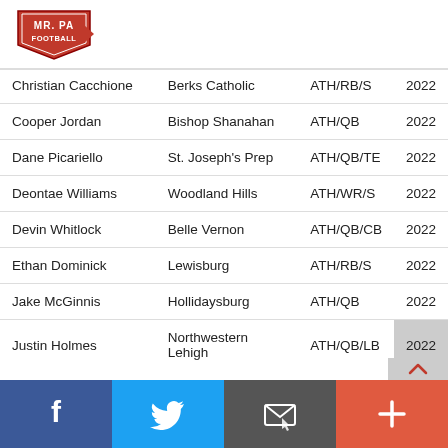[Figure (logo): Mr. PA Football logo — red and black football-shaped badge with text MR. PA FOOTBALL]
| Name | School | Position | Year |
| --- | --- | --- | --- |
| Christian Cacchione | Berks Catholic | ATH/RB/S | 2022 |
| Cooper Jordan | Bishop Shanahan | ATH/QB | 2022 |
| Dane Picariello | St. Joseph's Prep | ATH/QB/TE | 2022 |
| Deontae Williams | Woodland Hills | ATH/WR/S | 2022 |
| Devin Whitlock | Belle Vernon | ATH/QB/CB | 2022 |
| Ethan Dominick | Lewisburg | ATH/RB/S | 2022 |
| Jake McGinnis | Hollidaysburg | ATH/QB | 2022 |
| Justin Holmes | Northwestern Lehigh | ATH/QB/LB | 2022 |
Facebook | Twitter | Email | More